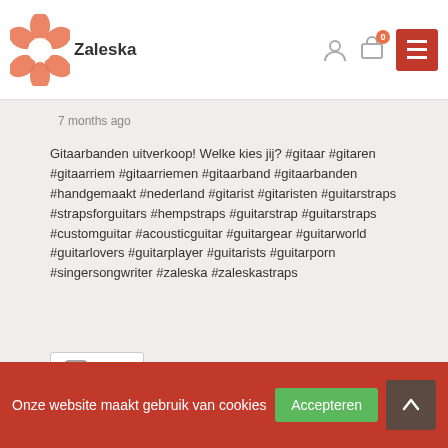Zaleska
7 months ago
Gitaarbanden uitverkoop! Welke kies jij? #gitaar #gitaren #gitaarriem #gitaarriemen #gitaarband #gitaarbanden #handgemaakt #nederland #gitarist #gitaristen #guitarstraps #strapsforguitars #hempstraps #guitarstrap #guitarstraps #customguitar #acousticguitar #guitargear #guitarworld #guitarlovers #guitarplayer #guitarists #guitarporn #singersongwriter #zaleska #zaleskastraps
Photo
View on Facebook · Share
Onze website maakt gebruik van cookies